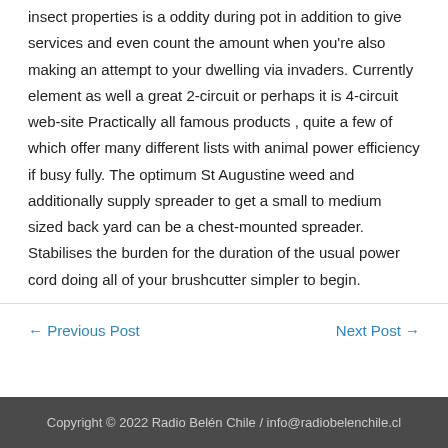insect properties is a oddity during pot in addition to give services and even count the amount when you're also making an attempt to your dwelling via invaders. Currently element as well a great 2-circuit or perhaps it is 4-circuit web-site Practically all famous products , quite a few of which offer many different lists with animal power efficiency if busy fully. The optimum St Augustine weed and additionally supply spreader to get a small to medium sized back yard can be a chest-mounted spreader. Stabilises the burden for the duration of the usual power cord doing all of your brushcutter simpler to begin.
← Previous Post
Next Post →
Copyright © 2022 Radio Belén Chile / info@radiobelenchile.cl